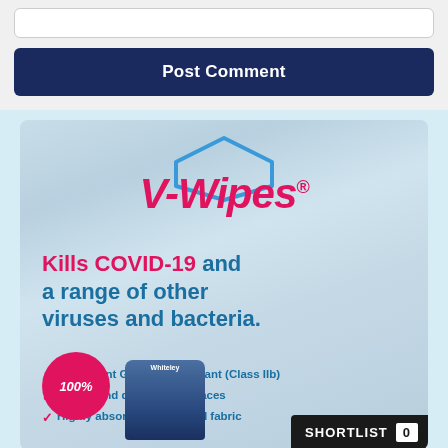[Figure (other): White input field/text box at top of page]
Post Comment
[Figure (illustration): V-Wipes advertisement on light blue background. Features the V-Wipes logo in pink italic bold text with a blue diamond/hexagon outline above it. Text reads: Kills COVID-19 and a range of other viruses and bacteria. Three checkmarks: Instrument Grade Disinfectant (Class IIb), Cleans and disinfects surfaces, Highly absorbent apertured fabric. Bottom shows a pink 100% circle, a product tub, and a SHORTLIST badge with count 0.]